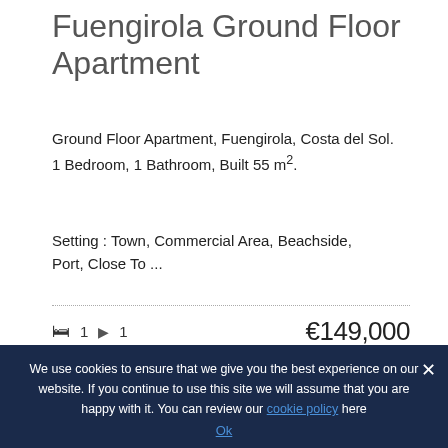Fuengirola Ground Floor Apartment
Ground Floor Apartment, Fuengirola, Costa del Sol.
1 Bedroom, 1 Bathroom, Built 55 m².
Setting : Town, Commercial Area, Beachside, Port, Close To ...
🛏 1  🔑 1   €149,000
[Figure (photo): Exterior rooftop view of Spanish-style buildings with terracotta tiles and sky background]
We use cookies to ensure that we give you the best experience on our website. If you continue to use this site we will assume that you are happy with it. You can review our cookie policy here
Ok